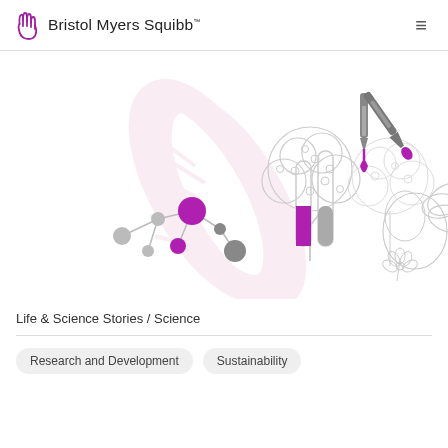Bristol Myers Squibb
[Figure (illustration): Scientific illustration showing trees (representing nature/biology), a dropper with purple liquid dripping into test tubes (one with purple liquid), molecular network nodes with purple and gray circles, a DNA helix in light pink, and botanical elements (leaves, fruit, flower) in light gray — all representing life sciences and scientific research themes for Bristol Myers Squibb.]
Life & Science Stories / Science
Research and Development
Sustainability